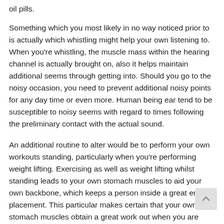oil pills.
Something which you most likely in no way noticed prior to is actually which whistling might help your own listening to. When you're whistling, the muscle mass within the hearing channel is actually brought on, also it helps maintain additional seems through getting into. Should you go to the noisy occasion, you need to prevent additional noisy points for any day time or even more. Human being ear tend to be susceptible to noisy seems with regard to times following the preliminary contact with the actual sound.
An additional routine to alter would be to perform your own workouts standing, particularly when you're performing weight lifting. Exercising as well as weight lifting whilst standing leads to your own stomach muscles to aid your own backbone, which keeps a person inside a great erect placement. This particular makes certain that your own stomach muscles obtain a great work out when you are raising pounds.
An additional little enhancement you may make for the wellness